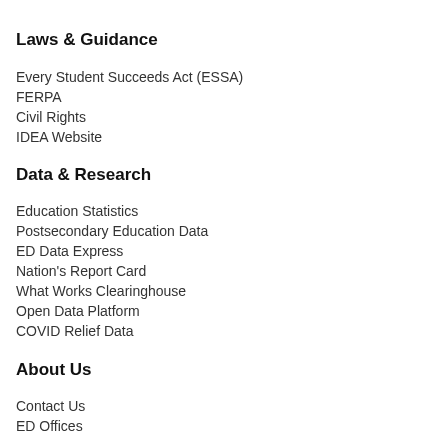Laws & Guidance
Every Student Succeeds Act (ESSA)
FERPA
Civil Rights
IDEA Website
Data & Research
Education Statistics
Postsecondary Education Data
ED Data Express
Nation's Report Card
What Works Clearinghouse
Open Data Platform
COVID Relief Data
About Us
Contact Us
ED Offices